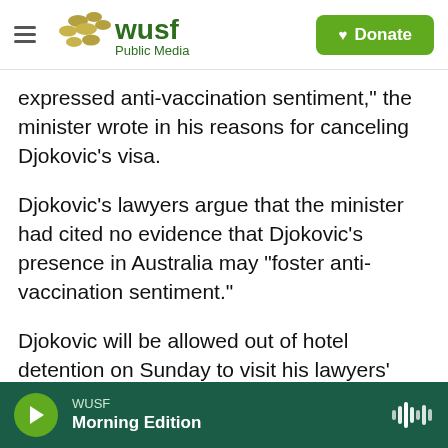WUSF Public Media — Donate
expressed anti-vaccination sentiment," the minister wrote in his reasons for canceling Djokovic's visa.
Djokovic's lawyers argue that the minister had cited no evidence that Djokovic's presence in Australia may "foster anti-vaccination sentiment."
Djokovic will be allowed out of hotel detention on Sunday to visit his lawyers' offices for the video court hearing.
On Saturday, Justice David O'Callaghan suggested a full bench rather than a single judge hear the case
WUSF · Morning Edition